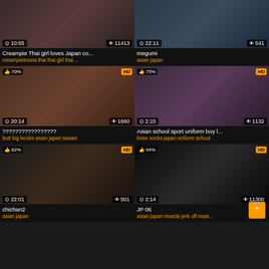[Figure (screenshot): Video thumbnail row 1 left - duration 10:55, views 11413]
Creampie Thai girl loves Japan co...
creampieinasia thai thai girl thai ...
[Figure (screenshot): Video thumbnail row 1 right - duration 22:11, views 541]
megumi
asian japan
[Figure (screenshot): Video thumbnail row 2 left - 70% HD, duration 20:14, views 1660, Chinese text overlay]
?????????????????
butt big boobs asian japan taiwan
[Figure (screenshot): Video thumbnail row 2 right - 75% HD, duration 2:15, views 1132]
Asian school sport uniform boy l...
knee socks japan uniform school
[Figure (screenshot): Video thumbnail row 3 left - 82% HD, duration 22:01, views 501]
chichan2
asian japan
[Figure (screenshot): Video thumbnail row 3 right - 94% HD, duration 2:14, views 11300]
JP 06
asian japan muscle jerk off mast...